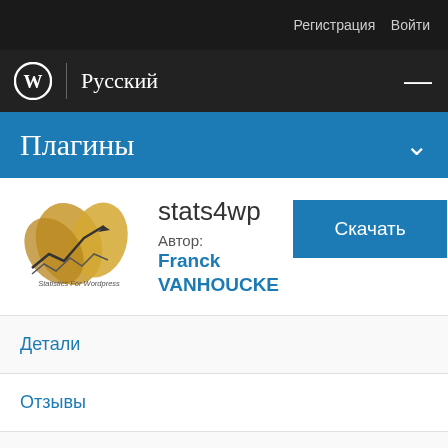Регистрация   Войти
WordPress | Русский
Плагины
[Figure (logo): stats4wp plugin logo — ginkgo leaves with a rising chart arrow, text 'Statistics For Wordpress']
stats4wp
Автор: Franck VANHOUCKE
Скачать
Детали
Отзывы
Поддержка
Разработка